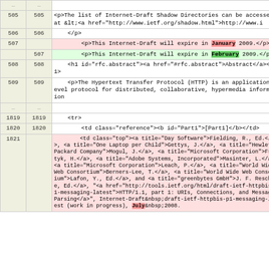| Line (old) | Line (new) | Content |
| --- | --- | --- |
| ... | ... |  |
| 505 | 505 | <p>The list of Internet-Draft Shadow Directories can be accessed at &lt;<a href="http://www.ietf.org/shadow.html">http://www.i |
| 506 | 506 |     </p> |
| 507 |  |         <p>This Internet-Draft will expire in January 2009.</p> |
|  | 507 |         <p>This Internet-Draft will expire in February 2009.</p> |
| 508 | 508 |     <h1 id="rfc.abstract"><a href="#rfc.abstract">Abstract</a></h1> |
| 509 | 509 |     <p>The Hypertext Transfer Protocol (HTTP) is an application-level protocol for distributed, collaborative, hypermedia information |
| ... | ... |  |
| 1819 | 1819 |     <tr> |
| 1820 | 1820 |         <td class="reference"><b id="Part1">[Part1]</b></td> |
| 1821 |  |         <td class="top"><a title="Day Software">Fielding, R., Ed.</a>, <a title="One Laptop per Child">Gettys, J.</a>, <a title="Hewlett-Packard Company">Mogul, J.</a>, <a title="Microsoft Corporation">Frystyk, H.</a>, <a title="Adobe Systems, Incorporated">Masinter, L.</a>, <a title="Microsoft Corporation">Leach, P.</a>, <a title="World Wide Web Consortium">Berners-Lee, T.</a>, <a title="World Wide Web Consortium">Lafon, Y., Ed.</a>, and <a title="greenbytes GmbH">J. F. Reschke, Ed.</a>, "<a href="http://tools.ietf.org/html/draft-ietf-httpbis-p1-messaging-latest">HTTP/1.1, part 1: URIs, Connections, and Message Parsing</a>", Internet-Draft&nbsp;draft-ietf-httpbis-p1-messaging-latest (work in progress), July&nbsp;2008. |